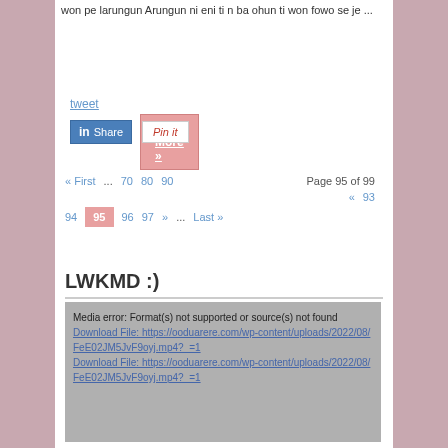won pe larungun Arungun ni eni ti n ba ohun ti won fowo se je ...
Read More »
tweet
[Figure (other): LinkedIn Share button and Pinterest Pin it button]
« First ... 70 80 90 Page 95 of 99 « 93 94 95 96 97 » ... Last »
LWKMD :)
Media error: Format(s) not supported or source(s) not found
Download File: https://ooduarere.com/wp-content/uploads/2022/08/FeE02JM5JvF9oyj.mp4?_=1
Download File: https://ooduarere.com/wp-content/uploads/2022/08/FeE02JM5JvF9oyj.mp4?_=1